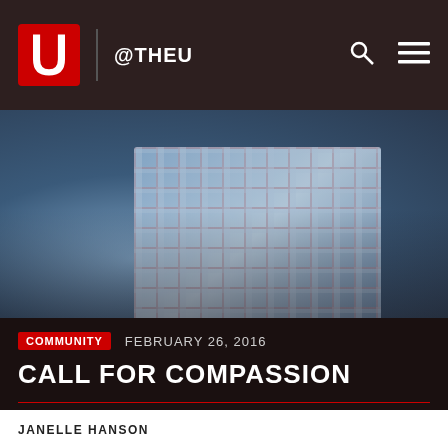@THEU
[Figure (photo): Close-up photo of a person's hands gripping denim fabric, with a plaid/checkered shirt visible. Dark, moody tone.]
COMMUNITY   FEBRUARY 26, 2016
CALL FOR COMPASSION
JANELLE HANSON